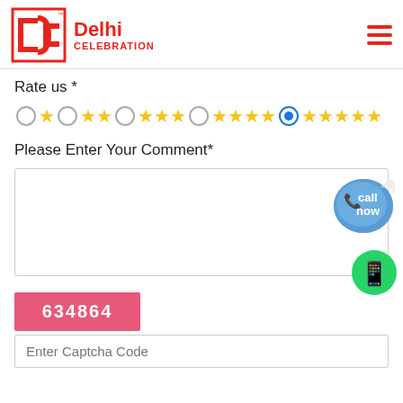[Figure (logo): Delhi Celebration logo with red DC emblem and text]
Rate us *
[Figure (infographic): Star rating widget with radio buttons: 1 star, 2 stars, 3 stars, 4 stars (selected), 5 stars options]
Please Enter Your Comment*
[Figure (infographic): Comment text area box with call now bubble sticker and WhatsApp icon]
[Figure (other): Captcha code display showing 634864 in pink box]
Enter Captcha Code